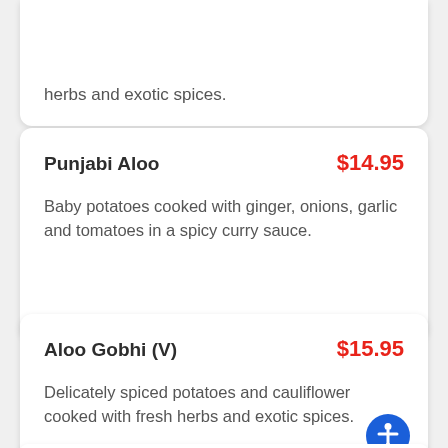Potatoes cooked with onions, tomatoes, fresh herbs and exotic spices.
Punjabi Aloo  $14.95
Baby potatoes cooked with ginger, onions, garlic and tomatoes in a spicy curry sauce.
Aloo Gobhi (V)  $15.95
Delicately spiced potatoes and cauliflower cooked with fresh herbs and exotic spices.